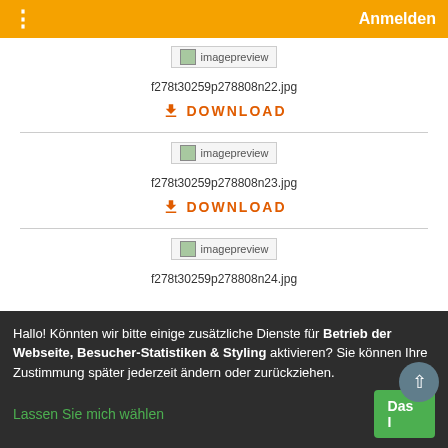⋮   Anmelden
[Figure (screenshot): Broken image placeholder labeled 'imagepreview']
f278t30259p278808n22.jpg
⬇ DOWNLOAD
[Figure (screenshot): Broken image placeholder labeled 'imagepreview']
f278t30259p278808n23.jpg
⬇ DOWNLOAD
[Figure (screenshot): Broken image placeholder labeled 'imagepreview']
f278t30259p278808n24.jpg
Hallo! Könnten wir bitte einige zusätzliche Dienste für Betrieb der Webseite, Besucher-Statistiken & Styling aktivieren? Sie können Ihre Zustimmung später jederzeit ändern oder zurückziehen.
Lassen Sie mich wählen
Das I...